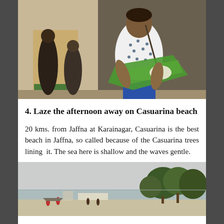[Figure (photo): A woman in a white polka-dot top and blue pants holding a banana leaf with food on it, standing in front of a building entrance with other people in the background.]
4. Laze the afternoon away on Casuarina beach
20 kms. from Jaffna at Karainagar, Casuarina is the best beach in Jaffna, so called because of the Casuarina trees lining it. The sea here is shallow and the waves gentle.
[Figure (photo): A beach scene with trees along the shore, calm water, and a few people visible near the waterline under an overcast sky.]